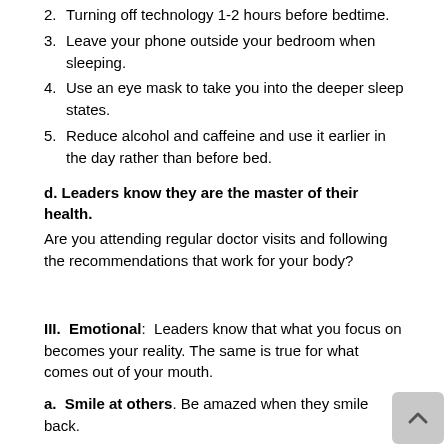2. Turning off technology 1-2 hours before bedtime.
3. Leave your phone outside your bedroom when sleeping.
4. Use an eye mask to take you into the deeper sleep states.
5. Reduce alcohol and caffeine and use it earlier in the day rather than before bed.
d. Leaders know they are the master of their health.
Are you attending regular doctor visits and following the recommendations that work for your body?
III.  Emotional:  Leaders know that what you focus on becomes your reality. The same is true for what comes out of your mouth.
a.  Smile at others. Be amazed when they smile back.
b. Show compassion for other people's Hero's Journey